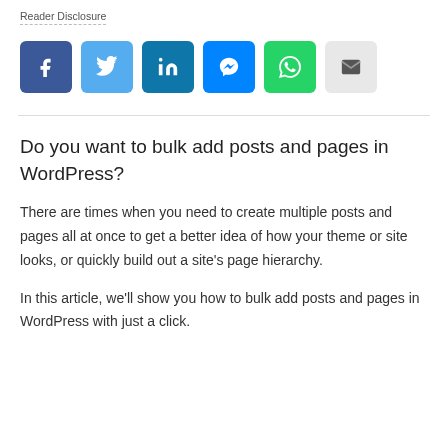Reader Disclosure
[Figure (other): Row of social sharing buttons: Facebook, Twitter, LinkedIn, Messenger, WhatsApp, Email]
Do you want to bulk add posts and pages in WordPress?
There are times when you need to create multiple posts and pages all at once to get a better idea of how your theme or site looks, or quickly build out a site's page hierarchy.
In this article, we'll show you how to bulk add posts and pages in WordPress with just a click.